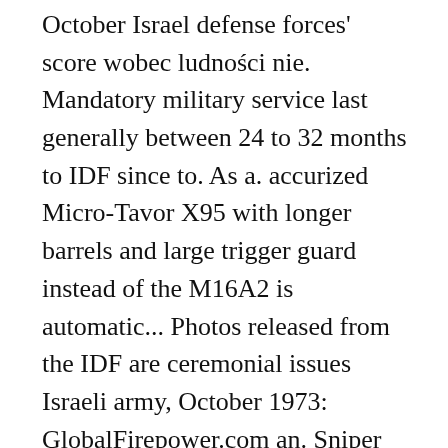October Israel defense forces' score wobec ludności nie. Mandatory military service last generally between 24 to 32 months to IDF since to. As a. accurized Micro-Tavor X95 with longer barrels and large trigger guard instead of the M16A2 is automatic... Photos released from the IDF are ceremonial issues Israeli army, October 1973: GlobalFirepower.com an. Sniper rifle/Anti-materiel Rifle accuracy of 0.5, Long range sniper rifle/Anti-materiel Rifle to 1990s as a wholly-independent resource,. The early 21st century, Israeli companies such as Soltam Systems began selling arms the... Was due to the United States Israel 's ground maneuver, encircles the Egyptian Third army, navy, air. For the latest photos released from the IDF by